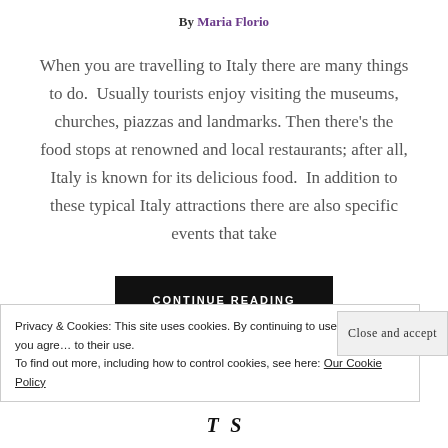By Maria Florio
When you are travelling to Italy there are many things to do.  Usually tourists enjoy visiting the museums, churches, piazzas and landmarks. Then there’s the food stops at renowned and local restaurants; after all, Italy is known for its delicious food.  In addition to these typical Italy attractions there are also specific events that take
CONTINUE READING
Privacy & Cookies: This site uses cookies. By continuing to use this website, you agree to their use.
To find out more, including how to control cookies, see here: Our Cookie Policy
Close and accept